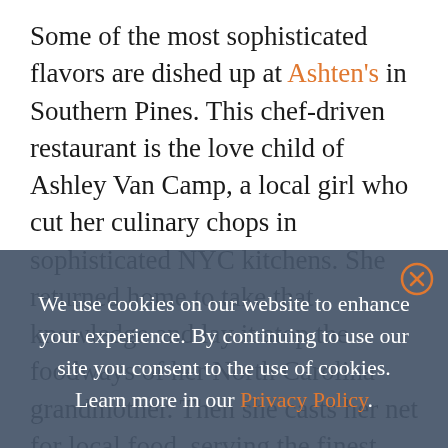Some of the most sophisticated flavors are dished up at Ashten's in Southern Pines. This chef-driven restaurant is the love child of Ashley Van Camp, a local girl who cut her culinary chops in sophisticated NYC kitchens. She returned home to take that knowledge and lay it atop the foodways of her North Carolina grandmother. Then she casts her net for local food, serving the finest from the nearby community. The result is Southern takes on international dishes. For instance, the carnitas she takes whole hog from local farm Middle Fanny Farm — Wild Hive Mountain Goat Cheese from — She fries the blossoms and serves them doused in an herbal aioli.
We use cookies on our website to enhance your experience. By continuing to use our site you consent to the use of cookies. Learn more in our Privacy Policy.